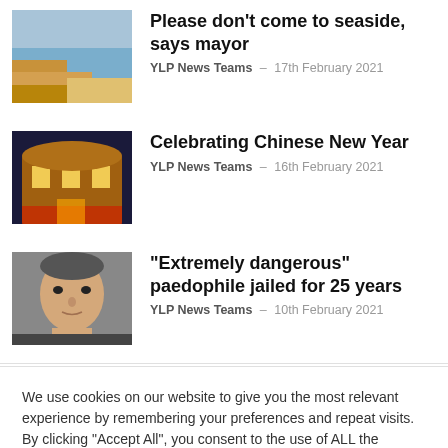Please don't come to seaside, says mayor
YLP News Teams – 17th February 2021
[Figure (photo): Coastal seaside cliff and beach photograph]
Celebrating Chinese New Year
YLP News Teams – 16th February 2021
[Figure (photo): Illuminated historic building at night]
"Extremely dangerous" paedophile jailed for 25 years
YLP News Teams – 10th February 2021
[Figure (photo): Mugshot photo of a man]
We use cookies on our website to give you the most relevant experience by remembering your preferences and repeat visits. By clicking “Accept All”, you consent to the use of ALL the cookies. Read More